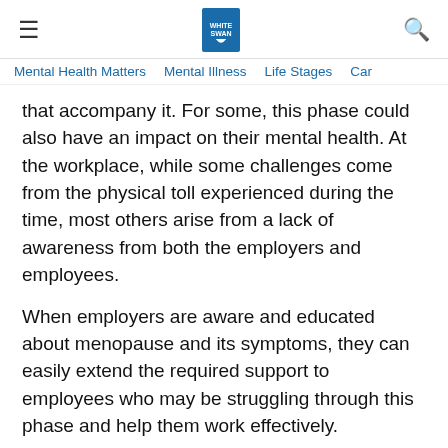≡  [White Swan Logo]  🔍
Mental Health Matters   Mental Illness   Life Stages   Car…
that accompany it. For some, this phase could also have an impact on their mental health. At the workplace, while some challenges come from the physical toll experienced during the time, most others arise from a lack of awareness from both the employers and employees.
When employers are aware and educated about menopause and its symptoms, they can easily extend the required support to employees who may be struggling through this phase and help them work effectively.
Physical and emotional changes